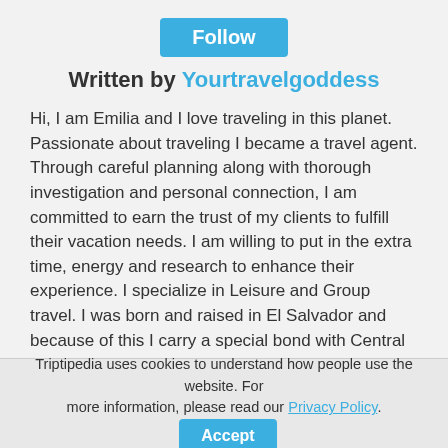[Figure (other): Follow button — teal/blue rounded rectangle with white 'Follow' text]
Written by Yourtravelgoddess
Hi, I am Emilia and I love traveling in this planet. Passionate about traveling I became a travel agent. Through careful planning along with thorough investigation and personal connection, I am committed to earn the trust of my clients to fulfill their vacation needs. I am willing to put in the extra time, energy and research to enhance their experience. I specialize in Leisure and Group travel. I was born and raised in El Salvador and because of this I carry a special bond with Central America. I enjoy the adventure and beauty of Belize and Costa Rica, the culture that Guatamala has to offer, The amazing Panama Canal and the undiscover... Read more
Triptipedia uses cookies to understand how people use the website. For more information, please read our Privacy Policy. Accept